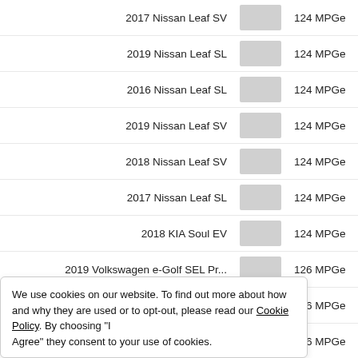[Figure (bar-chart): Fuel Economy Rankings]
We use cookies on our website. To find out more about how and why they are used or to opt-out, please read our Cookie Policy. By choosing "I Agree" they consent to your use of cookies.